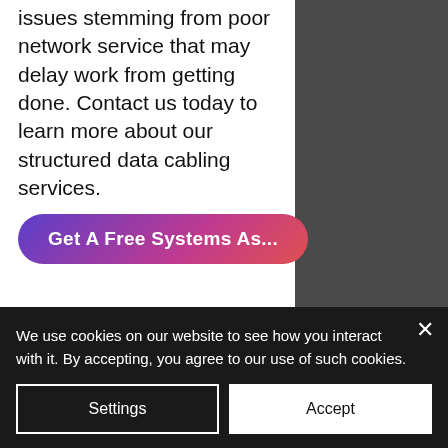issues stemming from poor network service that may delay work from getting done. Contact us today to learn more about our structured data cabling services.
[Figure (other): Call-to-action button with gradient background (purple to pink to red) with text 'Get A Free Systems As...']
TESTIMONIALS
[Figure (photo): Portrait photo of a woman with dark hair against dark network/globe background in the testimonials section]
We use cookies on our website to see how you interact with it. By accepting, you agree to our use of such cookies.
Settings
Accept